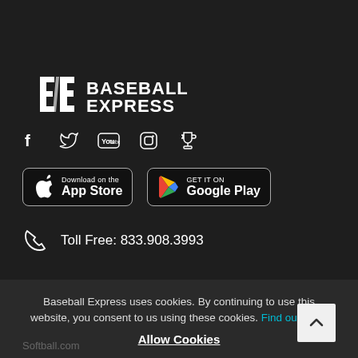[Figure (logo): Baseball Express logo - white text with stylized BE letters on dark background]
[Figure (infographic): Social media icons: Facebook, Twitter, YouTube, Instagram, Trophy/rewards]
[Figure (infographic): Download on the App Store and Get it on Google Play buttons]
Toll Free: 833.908.3993
Family Of Brands
Baseball Express uses cookies. By continuing to use this website, you consent to us using these cookies. Find out more
Allow Cookies
Softball.com